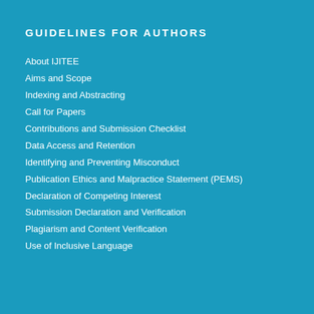GUIDELINES FOR AUTHORS
About IJITEE
Aims and Scope
Indexing and Abstracting
Call for Papers
Contributions and Submission Checklist
Data Access and Retention
Identifying and Preventing Misconduct
Publication Ethics and Malpractice Statement (PEMS)
Declaration of Competing Interest
Submission Declaration and Verification
Plagiarism and Content Verification
Use of Inclusive Language